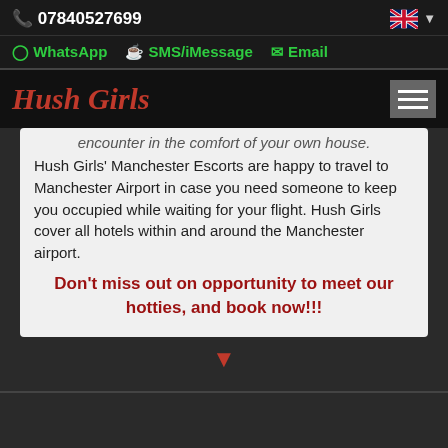07840527699
WhatsApp   SMS/iMessage   Email
Hush Girls
encounter in the comfort of your own house.
Hush Girls' Manchester Escorts are happy to travel to Manchester Airport in case you need someone to keep you occupied while waiting for your flight. Hush Girls cover all hotels within and around the Manchester airport.
Don't miss out on opportunity to meet our hotties, and book now!!!